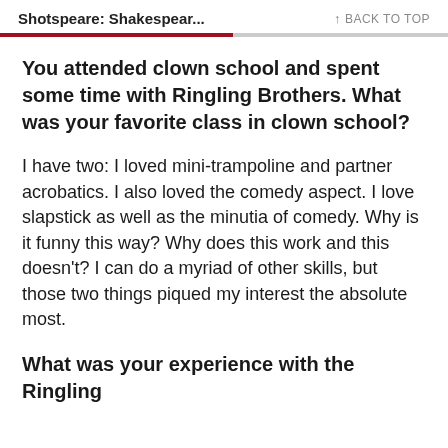Shotspeare: Shakespear...   ↑ BACK TO TOP
You attended clown school and spent some time with Ringling Brothers. What was your favorite class in clown school?
I have two: I loved mini-trampoline and partner acrobatics. I also loved the comedy aspect. I love slapstick as well as the minutia of comedy. Why is it funny this way? Why does this work and this doesn't? I can do a myriad of other skills, but those two things piqued my interest the absolute most.
What was your experience with the Ringling